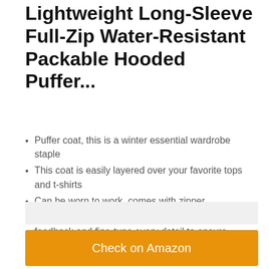Lightweight Long-Sleeve Full-Zip Water-Resistant Packable Hooded Puffer...
Puffer coat, this is a winter essential wardrobe staple
This coat is easily layered over your favorite tops and t-shirts
Can be worn to work, comes with zipper
Everyday made better: we listen to customer feedback and fine-tune every detail to ensure quality, fit, and comfort
Check on Amazon